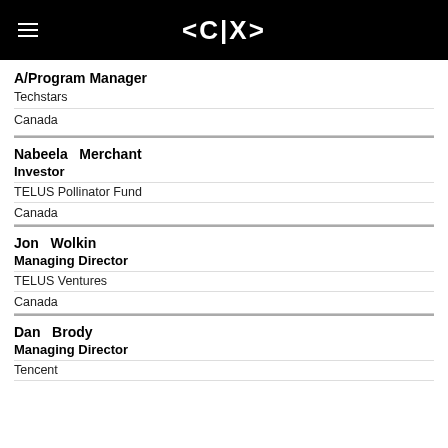<CIX>
A/Program Manager
Techstars
Canada
Nabeela   Merchant
Investor
TELUS Pollinator Fund
Canada
Jon   Wolkin
Managing Director
TELUS Ventures
Canada
Dan   Brody
Managing Director
Tencent